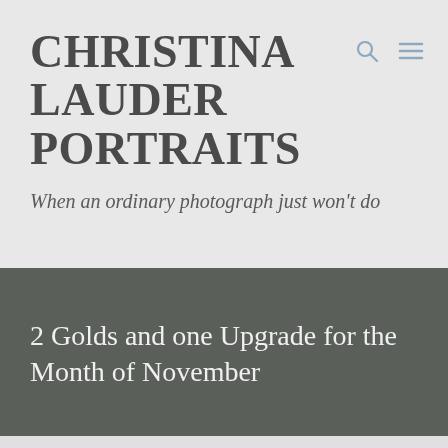CHRISTINA LAUDER PORTRAITS
When an ordinary photograph just won't do
2 Golds and one Upgrade for the Month of November